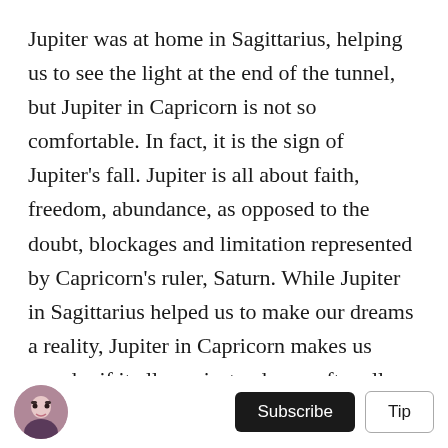Jupiter was at home in Sagittarius, helping us to see the light at the end of the tunnel, but Jupiter in Capricorn is not so comfortable. In fact, it is the sign of Jupiter's fall. Jupiter is all about faith, freedom, abundance, as opposed to the doubt, blockages and limitation represented by Capricorn's ruler, Saturn. While Jupiter in Sagittarius helped us to make our dreams a reality, Jupiter in Capricorn makes us wonder if it all was just a dream after all.
While Jupiter in Capricorn helps us to remain realistic, it's retrograde period may have us doubting ourselves too much. Our perspectives are limited